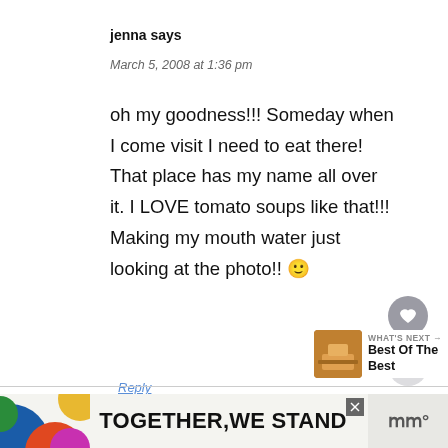jenna says
March 5, 2008 at 1:36 pm
oh my goodness!!! Someday when I come visit I need to eat there! That place has my name all over it. I LOVE tomato soups like that!!! Making my mouth water just looking at the photo!! 🙂
Reply
[Figure (other): WHAT'S NEXT panel showing 'Best Of The Best' with a food thumbnail image]
[Figure (other): Advertisement banner reading TOGETHER WE STAND]